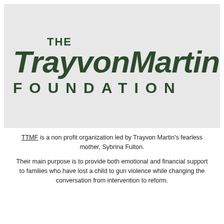[Figure (logo): The Trayvon Martin Foundation logo on a light gray background. 'THE' in small bold caps, 'TrayvonMartin' in large bold italic, 'FOUNDATION' in spaced bold caps. Colors are dark green.]
TTMF is a non profit organization led by Trayvon Martin's fearless mother, Sybrina Fulton.
Their main purpose is to provide both emotional and financial support to families who have lost a child to gun violence while changing the conversation from intervention to reform.